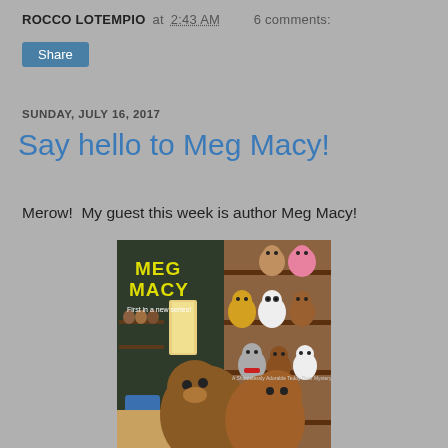ROCCO LOTEMPIO at 2:43 AM   6 comments:
Share
SUNDAY, JULY 16, 2017
Say hello to Meg Macy!
Merow!  My guest this week is author Meg Macy!
[Figure (photo): Book cover for Meg Macy showing two teddy bears in foreground and a shelf of colorful teddy bears in background, with text 'MEG MACY' in yellow and 'First in a new series!']